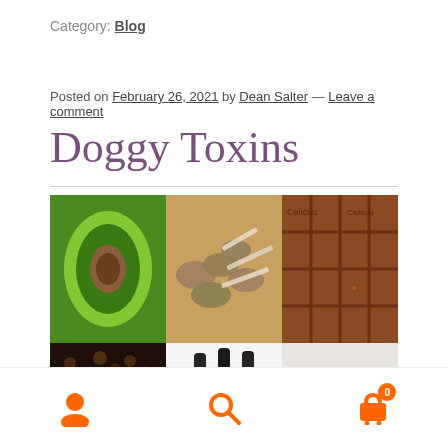Category: Blog
Posted on February 26, 2021 by Dean Salter — Leave a comment
Doggy Toxins
[Figure (photo): A 2x3 grid of food photos: avocado halves, sliced mushrooms and onions, chocolate bar, coffee beans, essential oil bottles, and grapes/berries]
Navigation bar with user, search, and cart icons